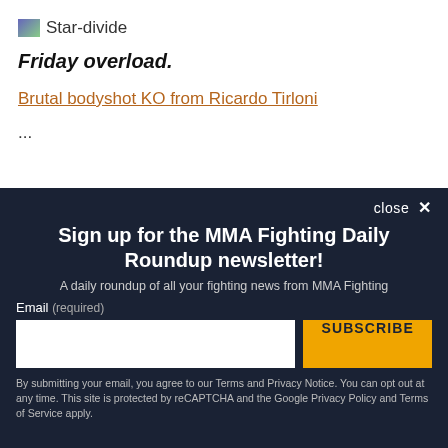[Figure (logo): Star-divide logo with image icon and text]
Friday overload.
Brutal bodyshot KO from Ricardo Tirloni
...
close ✕
Sign up for the MMA Fighting Daily Roundup newsletter!
A daily roundup of all your fighting news from MMA Fighting
Email (required)
SUBSCRIBE
By submitting your email, you agree to our Terms and Privacy Notice. You can opt out at any time. This site is protected by reCAPTCHA and the Google Privacy Policy and Terms of Service apply.